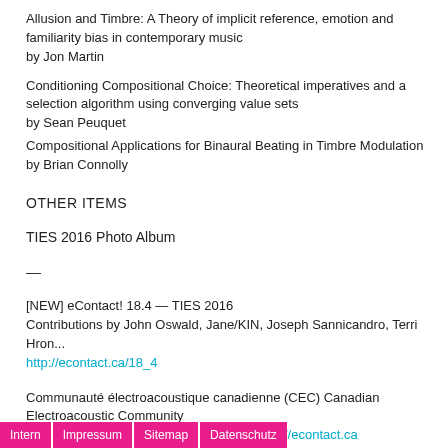Allusion and Timbre: A Theory of implicit reference, emotion and familiarity bias in contemporary music
by Jon Martin
Conditioning Compositional Choice: Theoretical imperatives and a selection algorithm using converging value sets
by Sean Peuquet
Compositional Applications for Binaural Beating in Timbre Modulation
by Brian Connolly
OTHER ITEMS
TIES 2016 Photo Album
—
[NEW] eContact! 18.4 — TIES 2016
Contributions by John Oswald, Jane/KIN, Joseph Sannicandro, Terri Hron...
http://econtact.ca/18_4
Communauté électroacoustique canadienne (CEC) Canadian Electroacoustic Community
HOME http://cec.sonus.ca \|\ JOURNAL http://econtact.ca
http://FACEBOOK.com/cec.sonus \|\ http://TWITTER.com/cec_ca
Intern   Impressum   Sitemap   Datenschutz